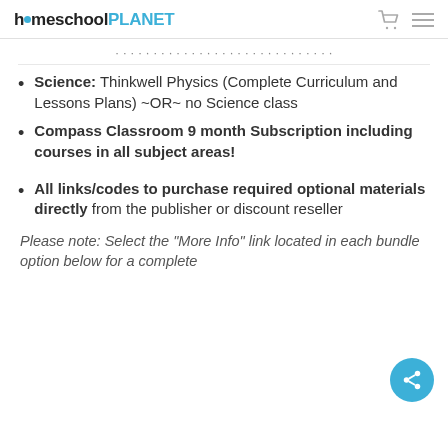homeschoolPLANET
Science: Thinkwell Physics (Complete Curriculum and Lessons Plans) ~OR~ no Science class
Compass Classroom 9 month Subscription including courses in all subject areas!
All links/codes to purchase required optional materials directly from the publisher or discount reseller
Please note: Select the "More Info" link located in each bundle option below for a complete